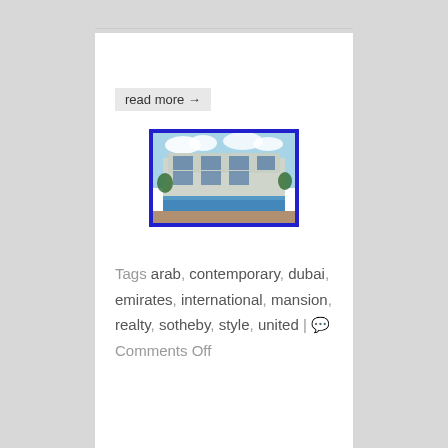read more →
[Figure (photo): Exterior view of a modern luxury mansion with a swimming pool, blue sky, contemporary architecture with glass and concrete elements]
Tags arab, contemporary, dubai, emirates, international, mansion, realty, sotheby, style, united | Comments Off